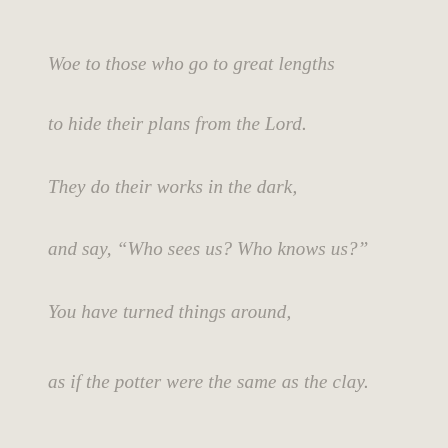Woe to those who go to great lengths
to hide their plans from the Lord.
They do their works in the dark,
and say, “Who sees us? Who knows us?”
You have turned things around,
as if the potter were the same as the clay.